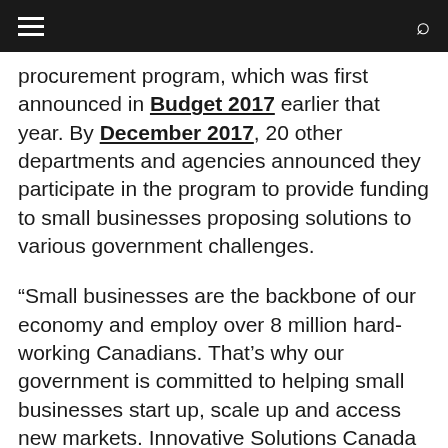procurement program, which was first announced in Budget 2017 earlier that year. By December 2017, 20 other departments and agencies announced they participate in the program to provide funding to small businesses proposing solutions to various government challenges.
“Small businesses are the backbone of our economy and employ over 8 million hard-working Canadians. That’s why our government is committed to helping small businesses start up, scale up and access new markets. Innovative Solutions Canada is a fantastic program that uses government procurement to help small